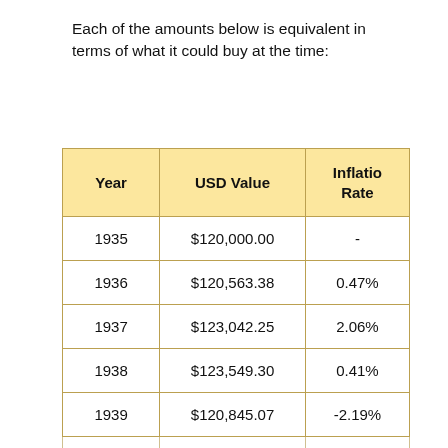Each of the amounts below is equivalent in terms of what it could buy at the time:
| Year | USD Value | Inflation Rate |
| --- | --- | --- |
| 1935 | $120,000.00 | - |
| 1936 | $120,563.38 | 0.47% |
| 1937 | $123,042.25 | 2.06% |
| 1938 | $123,549.30 | 0.41% |
| 1939 | $120,845.07 | -2.19% |
| 1940 | $120,169.01 | -0.56% |
| 1941 | $124,700.00 | 0.80% |